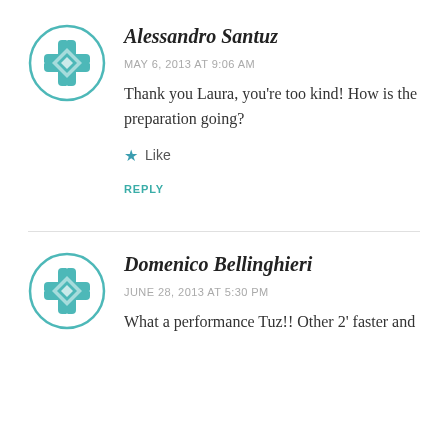Alessandro Santuz
MAY 6, 2013 AT 9:06 AM
Thank you Laura, you're too kind! How is the preparation going?
★ Like
REPLY
Domenico Bellinghieri
JUNE 28, 2013 AT 5:30 PM
What a performance Tuz!! Other 2' faster and